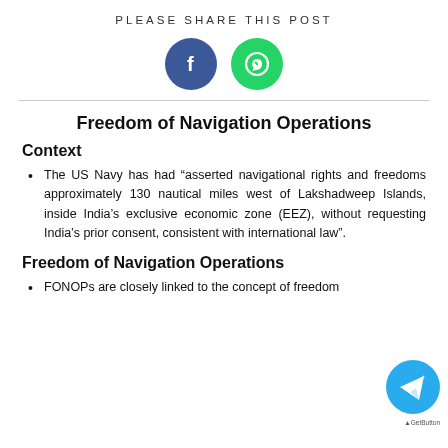PLEASE SHARE THIS POST
[Figure (infographic): Facebook (blue circle with f) and WhatsApp (green circle with phone icon) social share buttons]
Freedom of Navigation Operations
Context
The US Navy has had “asserted navigational rights and freedoms approximately 130 nautical miles west of Lakshadweep Islands, inside India’s exclusive economic zone (EEZ), without requesting India’s prior consent, consistent with international law”.
Freedom of Navigation Operations
FONOPs are closely linked to the concept of freedom